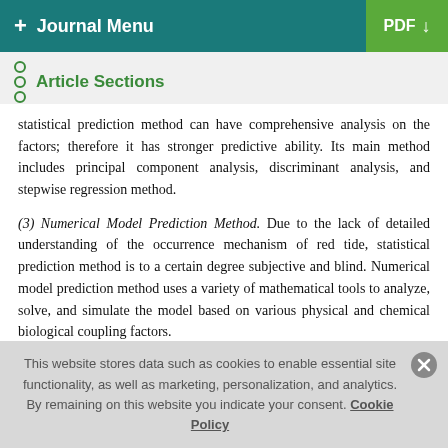+ Journal Menu | PDF ↓
Article Sections
statistical prediction method can have comprehensive analysis on the factors; therefore it has stronger predictive ability. Its main method includes principal component analysis, discriminant analysis, and stepwise regression method.
(3) Numerical Model Prediction Method. Due to the lack of detailed understanding of the occurrence mechanism of red tide, statistical prediction method is to a certain degree subjective and blind. Numerical model prediction method uses a variety of mathematical tools to analyze, solve, and simulate the model based on various physical and chemical biological coupling factors.
This website stores data such as cookies to enable essential site functionality, as well as marketing, personalization, and analytics. By remaining on this website you indicate your consent. Cookie Policy